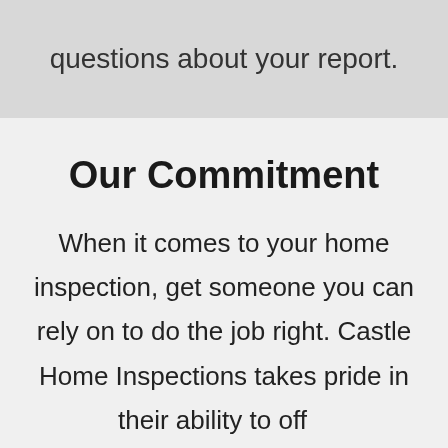questions about your report.
Our Commitment
When it comes to your home inspection, get someone you can rely on to do the job right. Castle Home Inspections takes pride in their ability to offer comprehensive services like residential and commercial building inspections, including